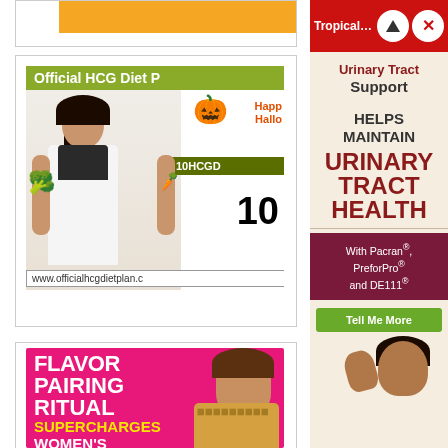[Figure (screenshot): Partial view of top bar with orange button, partially cropped]
[Figure (screenshot): Official HCG Diet Plan advertisement showing woman holding broccoli and carrots, Happy Halloween pumpkin graphic, 10% off discount, coupon code 10HCGD, www.officialhcgdietplan.c URL]
[Figure (screenshot): Flavor Pairing Ritual advertisement with pink background: FLAVOR PAIRING RITUAL SUPERCHARGES WOMEN'S METABOLISMS with woman photo]
[Figure (screenshot): Tropical L... notification bar in red with up arrow and X buttons]
[Figure (advertisement): Urinary Tract Support advertisement: HELPS MAINTAIN URINARY TRACT HEALTH, With Pacran, PreforPro and DE111, Tell Me More button, woman figure at bottom]